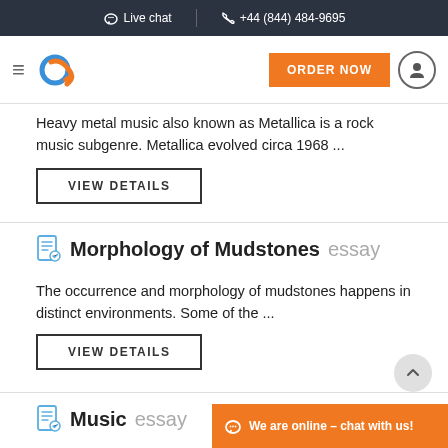Live chat  +44 (844) 484-9695
[Figure (logo): Orange and blue stylized 'e' logo with ORDER NOW button and user icon]
Heavy metal music also known as Metallica is a rock music subgenre. Metallica evolved circa 1968 ...
VIEW DETAILS
Morphology of Mudstones essay
The occurrence and morphology of mudstones happens in distinct environments. Some of the ...
VIEW DETAILS
Music essay
We are online – chat with us!